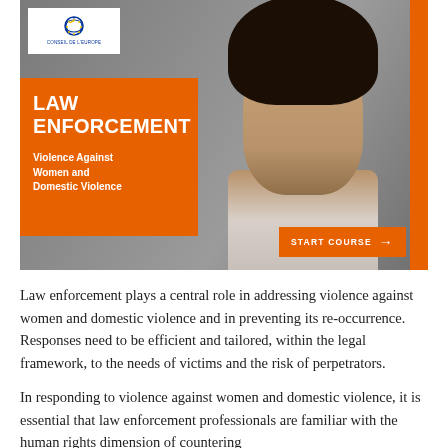[Figure (illustration): Council of Europe Law Enforcement online course cover image. Shows a young woman in profile against a grey background. Orange box on left reads 'LAW ENFORCEMENT – Violence Against Women and Domestic Violence'. Orange 'START COURSE →' button at bottom right. Council of Europe logo top left.]
Law enforcement plays a central role in addressing violence against women and domestic violence and in preventing its re-occurrence. Responses need to be efficient and tailored, within the legal framework, to the needs of victims and the risk of perpetrators.
In responding to violence against women and domestic violence, it is essential that law enforcement professionals are familiar with the human rights dimension of countering